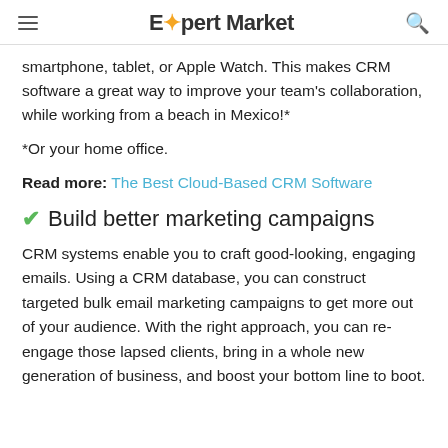Expert Market
smartphone, tablet, or Apple Watch. This makes CRM software a great way to improve your team's collaboration, while working from a beach in Mexico!*
*Or your home office.
Read more: The Best Cloud-Based CRM Software
✔ Build better marketing campaigns
CRM systems enable you to craft good-looking, engaging emails. Using a CRM database, you can construct targeted bulk email marketing campaigns to get more out of your audience. With the right approach, you can re-engage those lapsed clients, bring in a whole new generation of business, and boost your bottom line to boot.